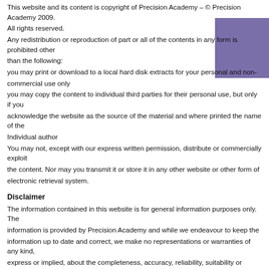This website and its content is copyright of Precision Academy – © Precision Academy 2009. All rights reserved. Any redistribution or reproduction of part or all of the contents in any form is prohibited other than the following:
you may print or download to a local hard disk extracts for your personal and non-commercial use only
you may copy the content to individual third parties for their personal use, but only if you acknowledge the website as the source of the material and where printed the name of the Individual author
You may not, except with our express written permission, distribute or commercially exploit the content. Nor may you transmit it or store it in any other website or other form of electronic retrieval system.
Disclaimer
The information contained in this website is for general information purposes only. The information is provided by Precision Academy and while we endeavour to keep the information up to date and correct, we make no representations or warranties of any kind, express or implied, about the completeness, accuracy, reliability, suitability or availability with respect to the website or the information, products, services, or related graphics contained on the website for any purpose. Any reliance you place on such information is therefore strictly at your own risk.
In no event will we be liable for any loss or damage including without limitation, indirect or consequential loss or damage, or any loss or damage whatsoever arising from loss of data or profits arising out of, or in connection with, the use of this website.
Through this website you may be able to link to other websites which are not under the control of Precision Academy.
We have no control over the nature, content and availability of those sites. The inclusion of